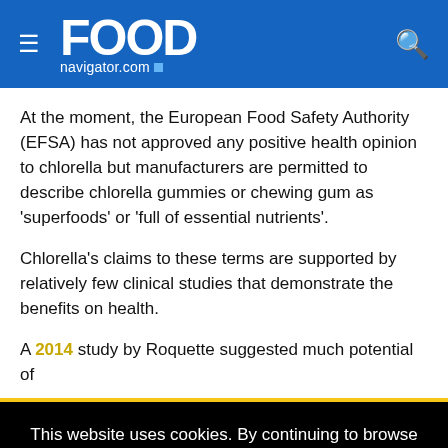FOOD navigator.com
At the moment, the European Food Safety Authority (EFSA) has not approved any positive health opinion to chlorella but manufacturers are permitted to describe chlorella gummies or chewing gum as 'superfoods' or 'full of essential nutrients'.
Chlorella's claims to these terms are supported by relatively few clinical studies that demonstrate the benefits on health.
A 2014 study by Roquette suggested much potential of
This website uses cookies. By continuing to browse our website, you are agreeing to our use of cookies. You can learn more about cookies by visiting our privacy & cookies policy page.